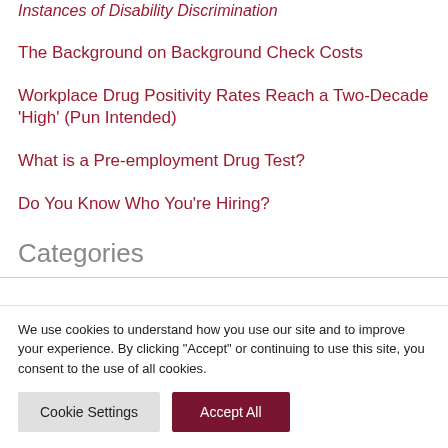Instances of Disability Discrimination
The Background on Background Check Costs
Workplace Drug Positivity Rates Reach a Two-Decade 'High' (Pun Intended)
What is a Pre-employment Drug Test?
Do You Know Who You're Hiring?
Categories
We use cookies to understand how you use our site and to improve your experience. By clicking “Accept” or continuing to use this site, you consent to the use of all cookies.